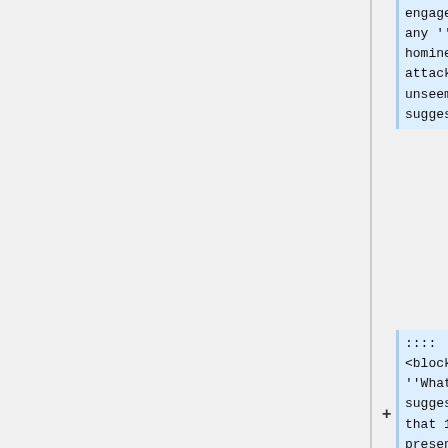engage in any ''ad-hominem'' attacks or unseemly suggestions:
::::
<blockquote>
''What I suggest is that 1. You present a clear argument that our guidelines are out of date, ignored, unclear, whatever.''<